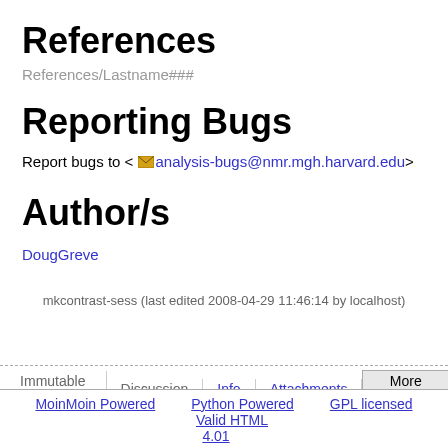References
References/Lastname###
Reporting Bugs
Report bugs to < analysis-bugs@nmr.mgh.harvard.edu>
Author/s
DougGreve
mkcontrast-sess (last edited 2008-04-29 11:46:14 by localhost)
Immutable Page   Discussion   Info   Attachments   More Actions:   MoinMoin Powered   Python Powered   GPL licensed   Valid HTML 4.01